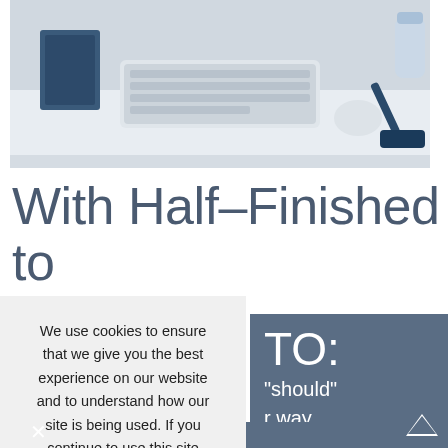[Figure (photo): Desk with keyboard, mouse, notebook, and office supplies on a white surface]
With Half–Finished to it's:
We use cookies to ensure that we give you the best experience on our website and to understand how our site is being used. If you continue to use this site we will assume that you are happy with it.
Read our cookie policy >
Yep, I'm good.